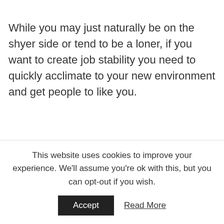While you may just naturally be on the shyer side or tend to be a loner, if you want to create job stability you need to quickly acclimate to your new environment and get people to like you.
While going to work shouldn't feel like you're participating in a popularity contest, you do want to ensure that you are a well-rounded, “likable” employee. This is
This website uses cookies to improve your experience. We'll assume you're ok with this, but you can opt-out if you wish.